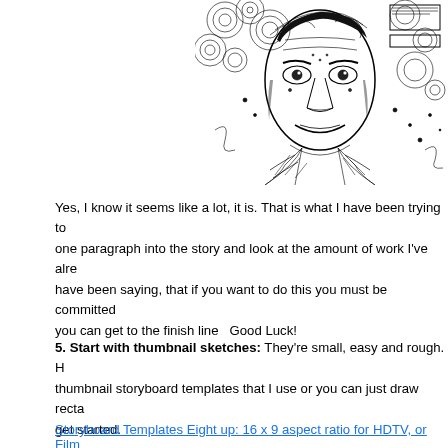[Figure (illustration): Black and white detailed pen illustration of a man's face and upper body surrounded by swirling patterns and textures, cropped showing right half of the page]
Yes, I know it seems like a lot, it is. That is what I have been trying to one paragraph into the story and look at the amount of work I've alre have been saying, that if you want to do this you must be committed you can get to the finish line  Good Luck!
5. Start with thumbnail sketches: They're small, easy and rough. H thumbnail storyboard templates that I use or you can just draw recta get started.
Storyboard Templates Eight up: 16 x 9 aspect ratio for HDTV, or Film